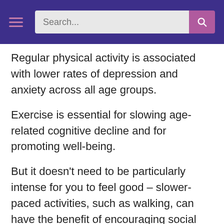Search...
Regular physical activity is associated with lower rates of depression and anxiety across all age groups.
Exercise is essential for slowing age-related cognitive decline and for promoting well-being.
But it doesn’t need to be particularly intense for you to feel good – slower-paced activities, such as walking, can have the benefit of encouraging social interactions as well providing some level of